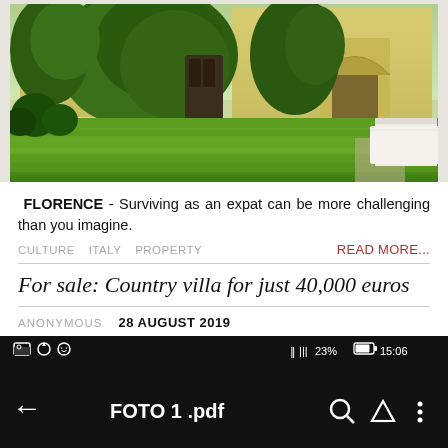[Figure (photo): Photograph of a yellow Italian country villa with ivy-covered walls, lush green lawn, ornamental bushes, a stone arch, and a white-cloth-covered table visible on the right side.]
FLORENCE - Surviving as an expat can be more challenging than you imagine.
CULTURE   ITALY   PROPERTY                          READ MORE...
For sale: Country villa for just 40,000 euros
ANONYMOUS   28 AUGUST 2019
[Figure (screenshot): Screenshot of an Android phone navigation bar showing a PDF file named FOTO 1 .pdf with status bar icons (battery 23%, time 15:06), back arrow, search and Google Drive icons, and a vertical more menu icon.]